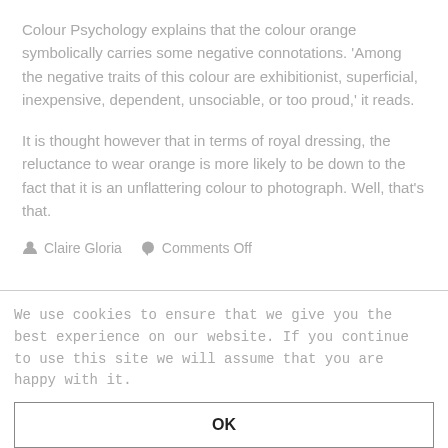Colour Psychology explains that the colour orange symbolically carries some negative connotations. 'Among the negative traits of this colour are exhibitionist, superficial, inexpensive, dependent, unsociable, or too proud,' it reads.
It is thought however that in terms of royal dressing, the reluctance to wear orange is more likely to be down to the fact that it is an unflattering colour to photograph. Well, that's that.
Claire Gloria   Comments Off
We use cookies to ensure that we give you the best experience on our website. If you continue to use this site we will assume that you are happy with it.
OK